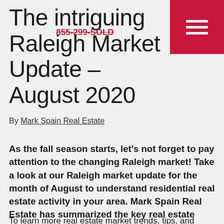The intriguing Raleigh Market Update – August 2020
By Mark Spain Real Estate
As the fall season starts, let's not forget to pay attention to the changing Raleigh market! Take a look at our Raleigh market update for the month of August to understand residential real estate activity in your area. Mark Spain Real Estate has summarized the key real estate trends of the Raleigh market so you can stay well-informed!
To learn more real estate market trends, tips, and